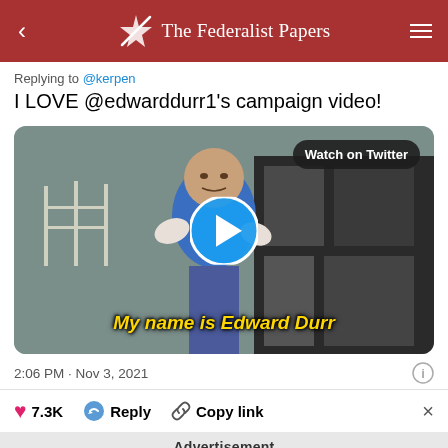The Federalist Papers
Replying to @kerpen
I LOVE @edwarddurr1's campaign video!
[Figure (screenshot): Video thumbnail showing a man in a blue shirt standing outside near a truck. Text overlay reads 'My name is Edward Durr'. A play button is centered on the image. A 'Watch on Twitter' button is at the top right.]
2:06 PM · Nov 3, 2021
7.3K   Reply   Copy link
Advertisement